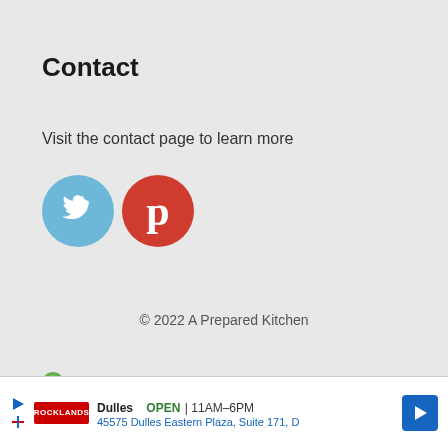Contact
Visit the contact page to learn more
[Figure (illustration): Twitter bird icon (blue circle) and Pinterest P icon (red circle) social media buttons]
© 2022 A Prepared Kitchen
[Figure (logo): Ezoic logo with green circular icon and bold text 'ezoic', with 'report this ad' link to the right]
[Figure (screenshot): Ad banner: store listing showing Dulles OPEN 11AM-6PM, 45575 Dulles Eastern Plaza, Suite 171, D with navigation arrow icon]